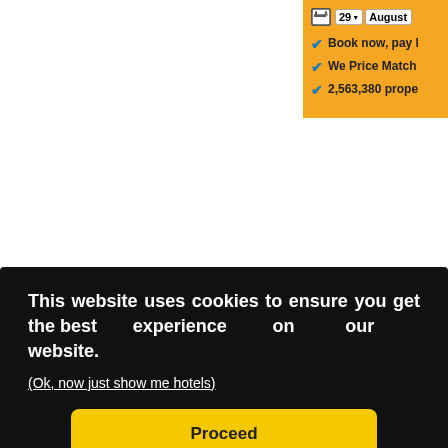[Figure (screenshot): Top-right corner of a booking.com hotel search widget with date selector showing '29' and 'August', on a yellow/orange background with checkmarks for 'Book now, pay l...', 'We Price Match', and '2,563,380 prope...']
Please note: the accommodation provider Booking.com does not ... es to
This website uses cookies to ensure you get the best experience on our website.
(Ok, now just show me hotels)
Proceed